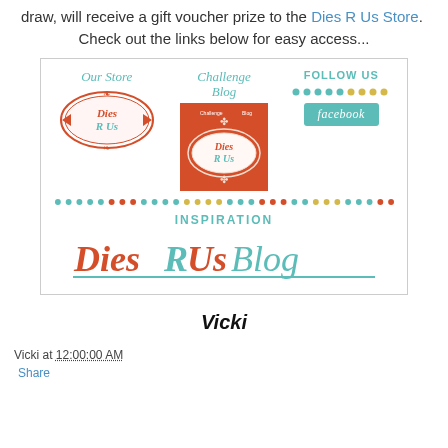draw, will receive a gift voucher prize to the Dies R Us Store.  Check out the links below for easy access...
[Figure (logo): Dies R Us promotional banner image showing: Our Store section with a decorative badge logo, Challenge Blog section with orange/red square logo, Follow Us section with dotted lines and a Facebook teal banner, and an Inspiration section with DiesRUs Blog script logo at the bottom.]
Vicki
Vicki at 12:00:00 AM
Share